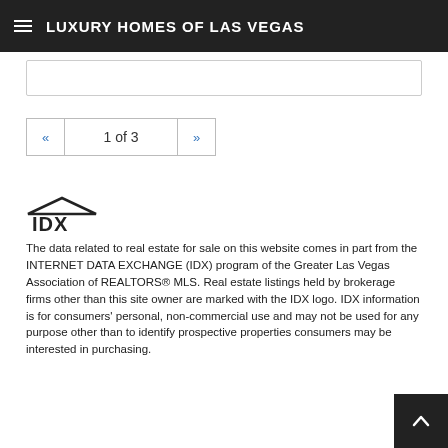LUXURY HOMES OF LAS VEGAS
[Figure (other): Search input box area]
1 of 3
[Figure (logo): IDX logo]
The data related to real estate for sale on this website comes in part from the INTERNET DATA EXCHANGE (IDX) program of the Greater Las Vegas Association of REALTORS® MLS. Real estate listings held by brokerage firms other than this site owner are marked with the IDX logo. IDX information is for consumers' personal, non-commercial use and may not be used for any purpose other than to identify prospective properties consumers may be interested in purchasing.